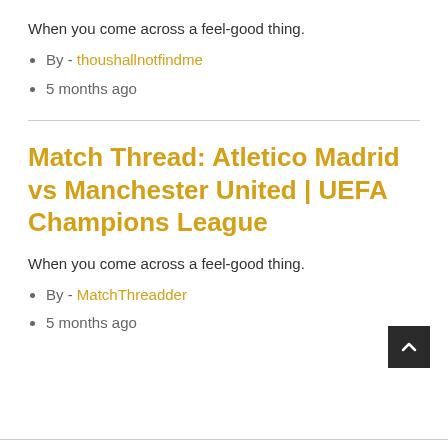When you come across a feel-good thing.
By - thoushallnotfindme
5 months ago
Match Thread: Atletico Madrid vs Manchester United | UEFA Champions League
When you come across a feel-good thing.
By - MatchThreadder
5 months ago